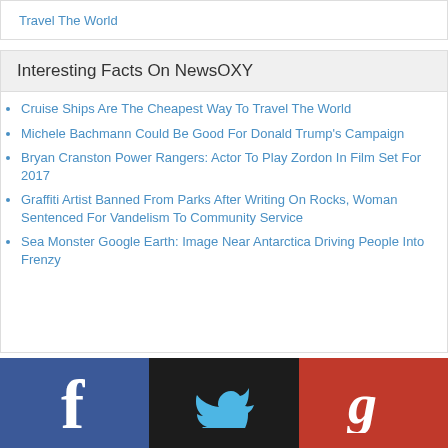Travel The World
Interesting Facts On NewsOXY
Cruise Ships Are The Cheapest Way To Travel The World
Michele Bachmann Could Be Good For Donald Trump's Campaign
Bryan Cranston Power Rangers: Actor To Play Zordon In Film Set For 2017
Graffiti Artist Banned From Parks After Writing On Rocks, Woman Sentenced For Vandelism To Community Service
Sea Monster Google Earth: Image Near Antarctica Driving People Into Frenzy
[Figure (logo): Facebook, Twitter, Google+ social media icons row]